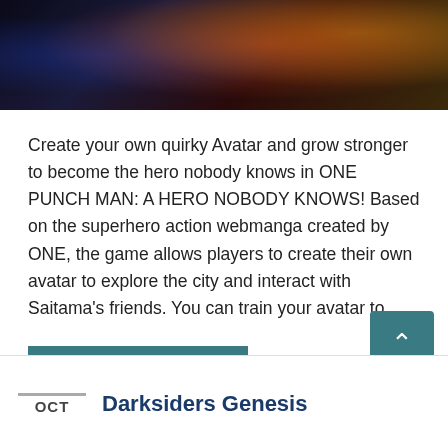[Figure (illustration): Colorful anime/manga illustration showing characters from One Punch Man against a dark background with red, yellow and blue tones]
Create your own quirky Avatar and grow stronger to become the hero nobody knows in ONE PUNCH MAN: A HERO NOBODY KNOWS! Based on the superhero action webmanga created by ONE, the game allows players to create their own avatar to explore the city and interact with Saitama’s friends. You can train your avatar to …
Continue reading
action, Bandai Namco, fighting game, games, gaming, ONE, one punch man, One Punch Man: A Hero Nobody Knows, Spike Chunsoft, Video Game, video games
Darksiders Genesis